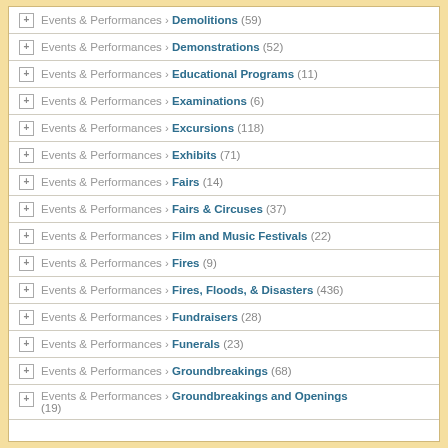Events & Performances › Demolitions (59)
Events & Performances › Demonstrations (52)
Events & Performances › Educational Programs (11)
Events & Performances › Examinations (6)
Events & Performances › Excursions (118)
Events & Performances › Exhibits (71)
Events & Performances › Fairs (14)
Events & Performances › Fairs & Circuses (37)
Events & Performances › Film and Music Festivals (22)
Events & Performances › Fires (9)
Events & Performances › Fires, Floods, & Disasters (436)
Events & Performances › Fundraisers (28)
Events & Performances › Funerals (23)
Events & Performances › Groundbreakings (68)
Events & Performances › Groundbreakings and Openings (19)